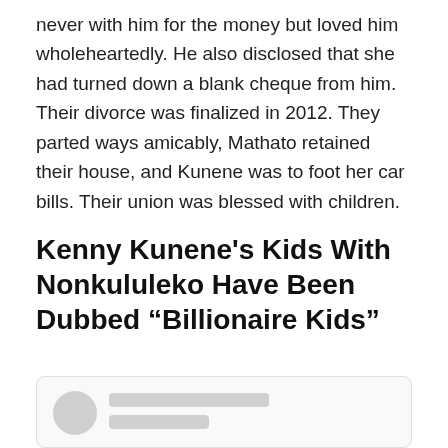never with him for the money but loved him wholeheartedly. He also disclosed that she had turned down a blank cheque from him. Their divorce was finalized in 2012. They parted ways amicably, Mathato retained their house, and Kunene was to foot her car bills. Their union was blessed with children.
Kenny Kunene's Kids With Nonkululeko Have Been Dubbed “Billionaire Kids”
[Figure (other): Social media profile card placeholder with avatar circle and two grey placeholder lines]